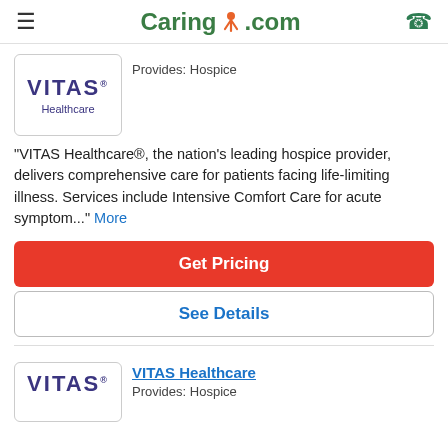Caring.com
[Figure (logo): VITAS Healthcare logo with purple bold VITAS text and Healthcare subtext]
Provides: Hospice
"VITAS Healthcare®, the nation's leading hospice provider, delivers comprehensive care for patients facing life-limiting illness. Services include Intensive Comfort Care for acute symptom..." More
Get Pricing
See Details
[Figure (logo): VITAS Healthcare logo second card]
VITAS Healthcare
Provides: Hospice